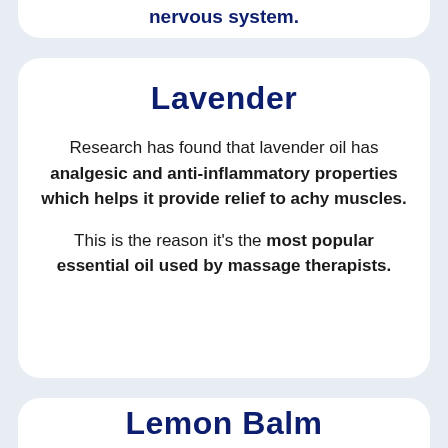nervous system.
Lavender
Research has found that lavender oil has analgesic and anti-inflammatory properties which helps it provide relief to achy muscles.
This is the reason it's the most popular essential oil used by massage therapists.
Lemon Balm